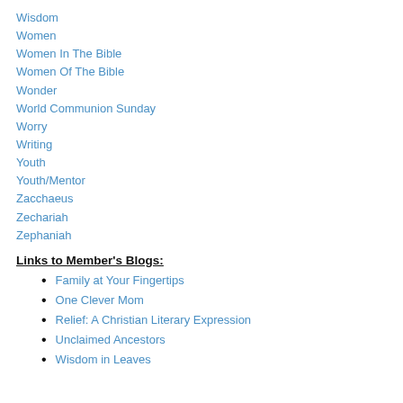Wisdom
Women
Women In The Bible
Women Of The Bible
Wonder
World Communion Sunday
Worry
Writing
Youth
Youth/Mentor
Zacchaeus
Zechariah
Zephaniah
Links to Member's Blogs:
Family at Your Fingertips
One Clever Mom
Relief: A Christian Literary Expression
Unclaimed Ancestors
Wisdom in Leaves